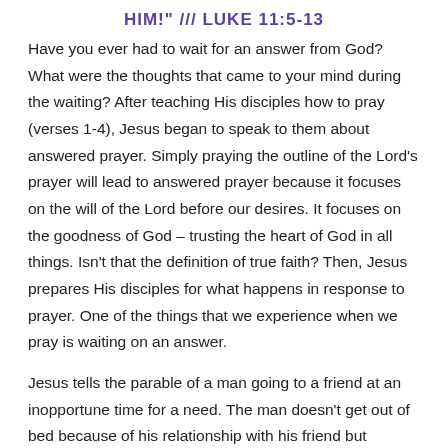HIM!" /// LUKE 11:5-13
Have you ever had to wait for an answer from God? What were the thoughts that came to your mind during the waiting? After teaching His disciples how to pray (verses 1-4), Jesus began to speak to them about answered prayer. Simply praying the outline of the Lord's prayer will lead to answered prayer because it focuses on the will of the Lord before our desires. It focuses on the goodness of God – trusting the heart of God in all things. Isn't that the definition of true faith? Then, Jesus prepares His disciples for what happens in response to prayer. One of the things that we experience when we pray is waiting on an answer.
Jesus tells the parable of a man going to a friend at an inopportune time for a need. The man doesn't get out of bed because of his relationship with his friend but because they are persistent about it. The phrase tells